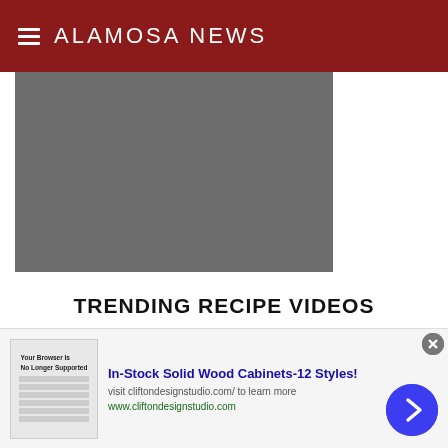ALAMOSA NEWS
[Figure (other): Gray video placeholder rectangle]
TRENDING RECIPE VIDEOS
[Figure (other): Thumbnail strip at bottom of content area]
[Figure (other): Advertisement banner: In-Stock Solid Wood Cabinets-12 Styles! visit cliftondesignstudio.com/ to learn more. www.cliftondesignstudio.com]